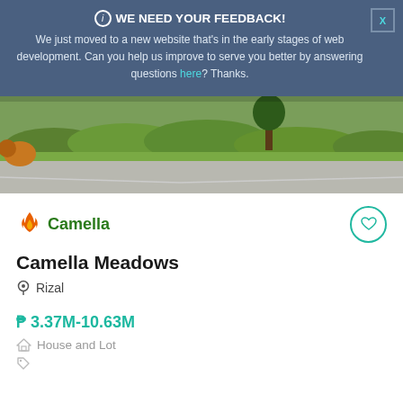ⓘ WE NEED YOUR FEEDBACK! We just moved to a new website that's in the early stages of web development. Can you help us improve to serve you better by answering questions here? Thanks.
[Figure (photo): Outdoor photo showing greenery, bushes, a tree, and a concrete road/parking area under a bright sky]
[Figure (logo): Camella brand logo with orange flame icon and green text]
Camella Meadows
Rizal
₱ 3.37M-10.63M
House and Lot